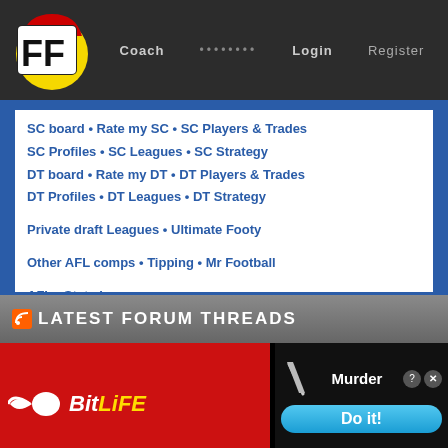FF Coach ........ Login Register
SC board • Rate my SC • SC Players & Trades
SC Profiles • SC Leagues • SC Strategy
DT board • Rate my DT • DT Players & Trades
DT Profiles • DT Leagues • DT Strategy

Private draft Leagues • Ultimate Footy

Other AFL comps • Tipping • Mr Football

AFL • State leagues

AD • BL • CA • CO • ES • FR • GE • GC • GWS
HW • ME • NM • PA • RI • SK • SY • WC • WB

Other sports • Association football (soccer) • EPL • Cricket

The Front Bar • Coaches • Introductions
Feedback • Archives
LATEST FORUM THREADS
[Figure (screenshot): BitLife advertisement banner showing BitLife logo with sperm icon, knife/murder image, Murder text, Do it! button]